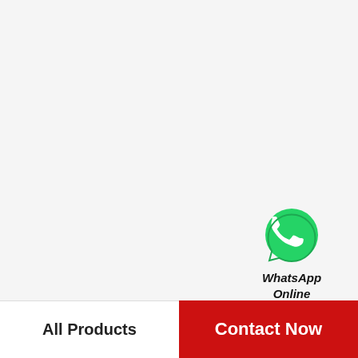[Figure (logo): WhatsApp icon – green circle with white phone handset graphic and a small tail (speech-bubble style), followed by text 'WhatsApp Online' in bold italic below]
2016 new technolog process of cottonseed oil making machine
All Products
Contact Now